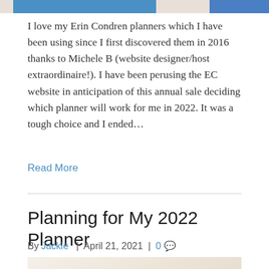[Figure (photo): Top banner image strip with blue and beige tones]
I love my Erin Condren planners which I have been using since I first discovered them in 2016 thanks to Michele B (website designer/host extraordinaire!). I have been perusing the EC website in anticipation of this annual sale deciding which planner will work for me in 2022. It was a tough choice and I ended…
Read More
Planning for My 2022 Planner
By Jackie | April 21, 2021 | 0
[Figure (photo): Planning and crafting supplies on a white surface with gold geometric decoration and pink ribbon]